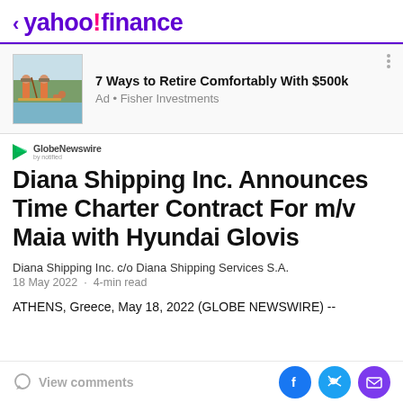< yahoo!finance
[Figure (illustration): Advertisement image showing two people paddleboarding with a dog, illustration style]
7 Ways to Retire Comfortably With $500k
Ad • Fisher Investments
[Figure (logo): GlobeNewswire by notified logo with play button icon]
Diana Shipping Inc. Announces Time Charter Contract For m/v Maia with Hyundai Glovis
Diana Shipping Inc. c/o Diana Shipping Services S.A.
18 May 2022 · 4-min read
ATHENS, Greece, May 18, 2022 (GLOBE NEWSWIRE) --
View comments